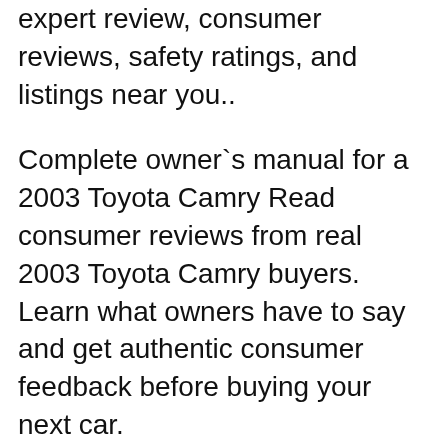expert review, consumer reviews, safety ratings, and listings near you..
Complete owner`s manual for a 2003 Toyota Camry Read consumer reviews from real 2003 Toyota Camry buyers. Learn what owners have to say and get authentic consumer feedback before buying your next car.
Complete owner`s manual for a 2003 Toyota Camry 21/08/2011B B· Oil change on a 2003 Toyota Camry, 2.4L. In the video you will notice that I am pouring in the oil from a 5qrts container the 2.4L only takes 4qrts and that is with the filter. Always check your